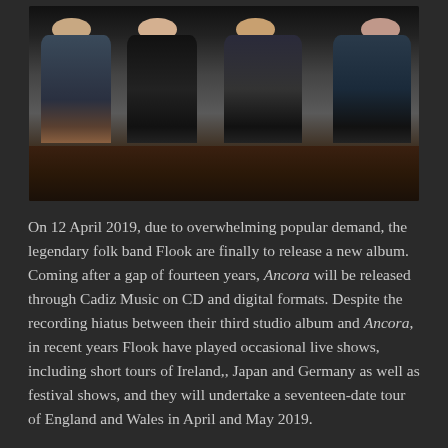[Figure (photo): A band photo showing four people seated side by side against a dark background, on what appears to be a wooden floor or stage. The group is the folk band Flook.]
On 12 April 2019, due to overwhelming popular demand, the legendary folk band Flook are finally to release a new album.  Coming after a gap of fourteen years, Ancora will be released through Cadiz Music on CD and digital formats. Despite the recording hiatus between their third studio album and Ancora, in recent years Flook have played occasional live shows, including short tours of Ireland,, Japan and Germany as well as festival shows, and they will undertake a seventeen-date tour of England and Wales in April and May 2019.